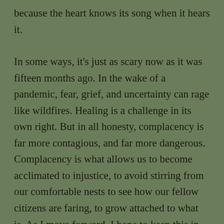because the heart knows its song when it hears it.

In some ways, it's just as scary now as it was fifteen months ago. In the wake of a pandemic, fear, grief, and uncertainty can rage like wildfires. Healing is a challenge in its own right. But in all honesty, complacency is far more contagious, and far more dangerous. Complacency is what allows us to become acclimated to injustice, to avoid stirring from our comfortable nests to see how our fellow citizens are faring, to grow attached to what is. As I move forward, I hope to keep this in mind, to stop searching for what I've imagined has been lost during this seemingly interminable holding pattern, and to instead expect to be surprised. To seek renewal, rather than recollection. To grow and live and be vulnerable, even if – and especially if – that means I can be